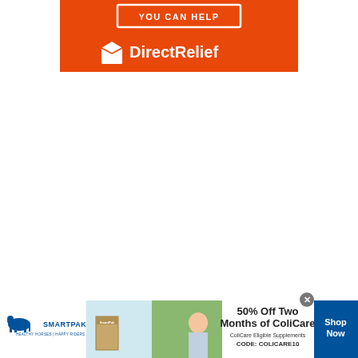[Figure (advertisement): Direct Relief charity advertisement banner with orange background. Has 'YOU CAN HELP' button outline and Direct Relief logo with box/dove icon in white.]
[Figure (advertisement): SmartPak advertisement banner at bottom of page. Shows SmartPak logo, product image, horse photo, '50% Off Two Months of ColiCare' offer with 'ColiCare Eligible Supplements CODE: COLICARE10', and a blue 'Shop Now' button. Has a close X button.]